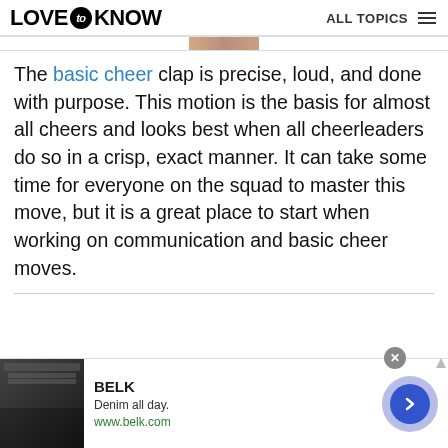LOVE to KNOW  ALL TOPICS
The basic cheer clap is precise, loud, and done with purpose. This motion is the basis for almost all cheers and looks best when all cheerleaders do so in a crisp, exact manner. It can take some time for everyone on the squad to master this move, but it is a great place to start when working on communication and basic cheer moves.
[Figure (infographic): Advertisement banner for BELK: Denim all day. www.belk.com with product imagery and a blue arrow button.]